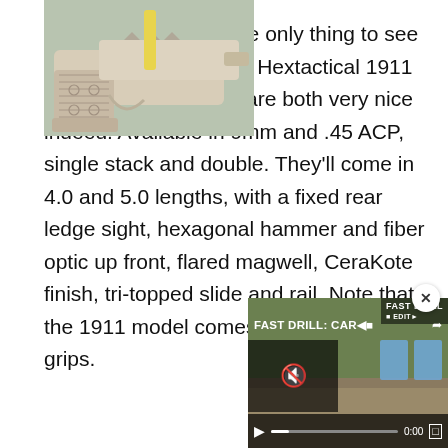The Costa gun isn't the only thing to see at STI of course. Their Hextactical 1911 and Hextactical 2011 are both very nice indeed. Available in 9mm and .45 ACP, single stack and double. They'll come in 4.0 and 5.0 lengths, with a fixed rear ledge sight, hexagonal hammer and fiber optic up front, flared magwell, CeraKote finish, tri-topped slide and rail. Note that the 1911 model comes with VZ Alien grips.
[Figure (photo): Close-up photograph of a white/cream 1911-style pistol showing the grip, frame, and partial slide, with a yellow object visible in the background.]
[Figure (screenshot): Video player thumbnail showing 'FAST DRILL: CAR...' text overlay on a shooting range scene with blue target silhouettes. Controls show 0:00 timestamp, mute icon, play button, and fullscreen button. A small close (x) button appears in the upper right corner.]